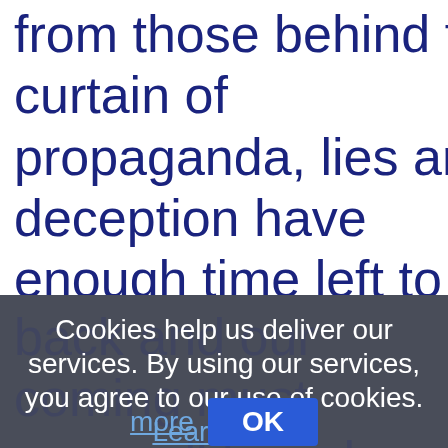from those behind the curtain of propaganda, lies and deception have enough time left to pull the
Cookies help us deliver our services. By using our services, you agree to our use of cookies. Learn more
OK